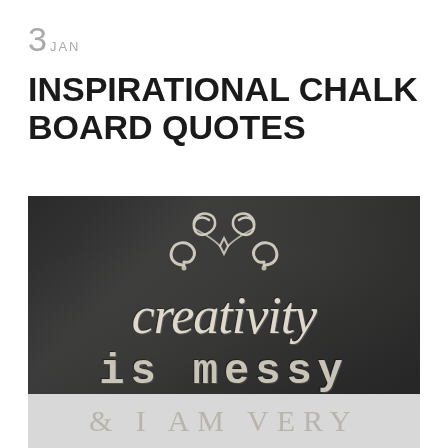3 JAN
INSPIRATIONAL CHALK BOARD QUOTES
[Figure (photo): A dark chalkboard with decorative chalk-drawn ornamental swirl at the top, large cursive italic text reading 'creativity' in the middle, and block/typewriter text 'is messy' below it. The bottom strip shows '& I AM VERY' in grey decorative text.]